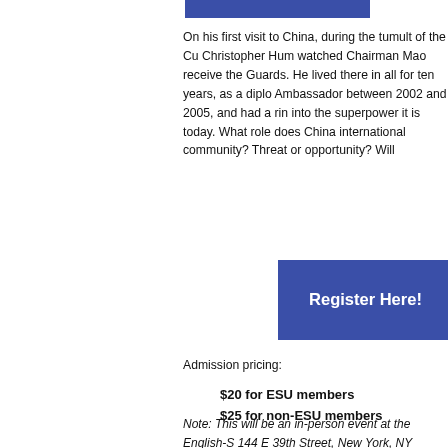[Figure (other): Blue rectangular bar at top of page]
On his first visit to China, during the tumult of the Cu Christopher Hum watched Chairman Mao receive the Guards. He lived there in all for ten years, as a diplo Ambassador between 2002 and 2005, and had a rin into the superpower it is today. What role does China international community? Threat or opportunity? Will
[Figure (other): Blue 'Register Here!' button]
Admission pricing:
$20 for ESU members
$25 for non-ESU members
Note: This will be an in-person event at the English-S 144 E 39th Street, New York, NY 10016. The event v